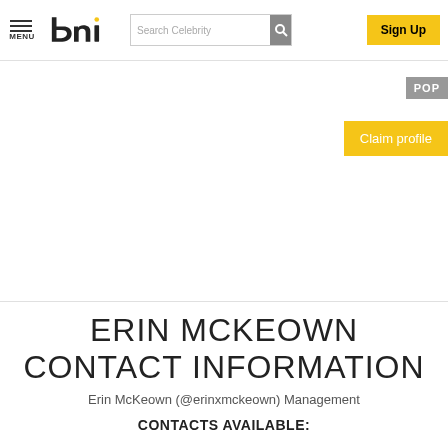MENU | bni logo | Search Celebrity | Sign Up
[Figure (screenshot): White banner area with POP tab on right side and Claim profile yellow button]
ERIN MCKEOWN CONTACT INFORMATION
Erin McKeown (@erinxmckeown) Management
CONTACTS AVAILABLE: